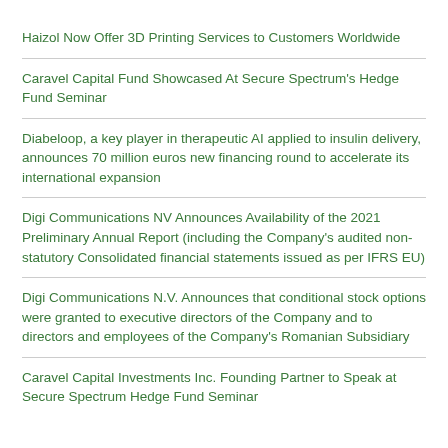Haizol Now Offer 3D Printing Services to Customers Worldwide
Caravel Capital Fund Showcased At Secure Spectrum's Hedge Fund Seminar
Diabeloop, a key player in therapeutic AI applied to insulin delivery, announces 70 million euros new financing round to accelerate its international expansion
Digi Communications NV Announces Availability of the 2021 Preliminary Annual Report (including the Company's audited non-statutory Consolidated financial statements issued as per IFRS EU)
Digi Communications N.V. Announces that conditional stock options were granted to executive directors of the Company and to directors and employees of the Company's Romanian Subsidiary
Caravel Capital Investments Inc. Founding Partner to Speak at Secure Spectrum Hedge Fund Seminar